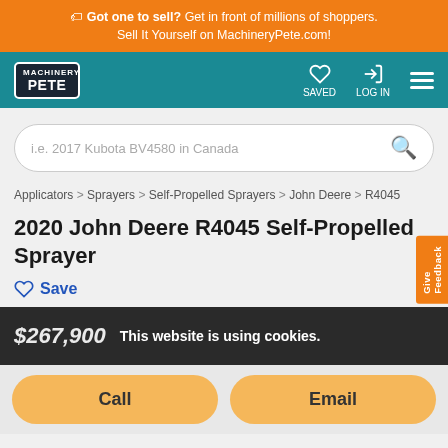Got one to sell? Get in front of millions of shoppers. Sell It Yourself on MachineryPete.com!
[Figure (logo): Machinery Pete logo - dark background with white text]
SAVED  LOG IN
i.e. 2017 Kubota BV4580 in Canada
Applicators > Sprayers > Self-Propelled Sprayers > John Deere > R4045
2020 John Deere R4045 Self-Propelled Sprayer
Save
$267,900  This website is using cookies.
Call  Email